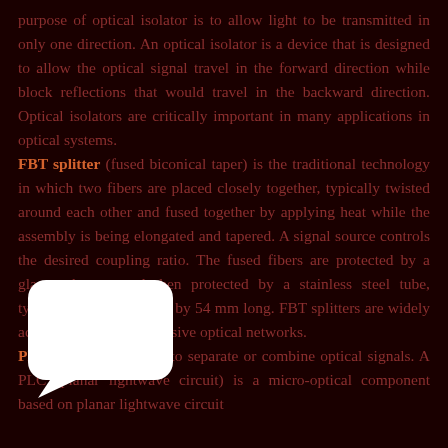purpose of optical isolator is to allow light to be transmitted in only one direction. An optical isolator is a device that is designed to allow the optical signal travel in the forward direction while block reflections that would travel in the backward direction. Optical isolators are critically important in many applications in optical systems.
FBT splitter (fused biconical taper) is the traditional technology in which two fibers are placed closely together, typically twisted around each other and fused together by applying heat while the assembly is being elongated and tapered. A signal source controls the desired coupling ratio. The fused fibers are protected by a glass substrate and then protected by a stainless steel tube, typically 3 mm diameter by 54 mm long. FBT splitters are widely accepted and used in passive optical networks.
PLC splitters are used to separate or combine optical signals. A PLC (planar lightwave circuit) is a micro-optical component based on planar lightwave circuit
[Figure (illustration): White chat bubble / speech bubble graphic overlaid on the lower-left area of the page]